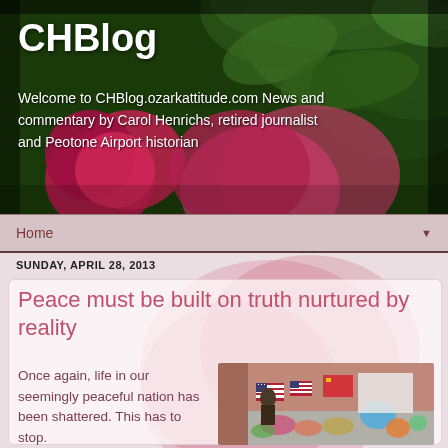CHBlog
Welcome to CHBlog.ozarkattitude.com News and commentary by Carol Henrichs, retired journalist and Peotone Airport historian
Home
SUNDAY, APRIL 28, 2013
Peace must be built on truth nurtured by reality
Once again, life in our seemingly peaceful nation has been shattered. This has to stop.
[Figure (photo): Memorial with American flags, flowers, and tributes laid out on a street sidewalk, likely a Boston Marathon bombing memorial]